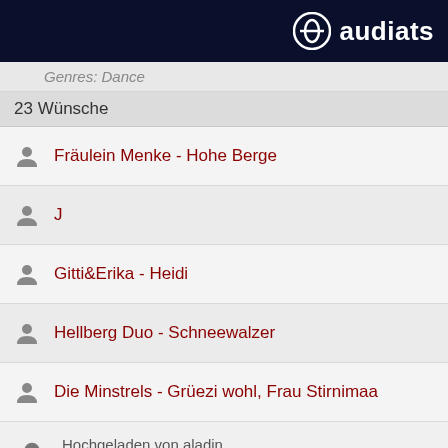audials
Genres: Dance
23 Wünsche
Fräulein Menke - Hohe Berge
J
Gitti&Erika - Heidi
Hellberg Duo - Schneewalzer
Die Minstrels - Grüezi wohl, Frau Stirnimaa
Hochgeladen von aladin
Genres: Rock
97 Wünsche